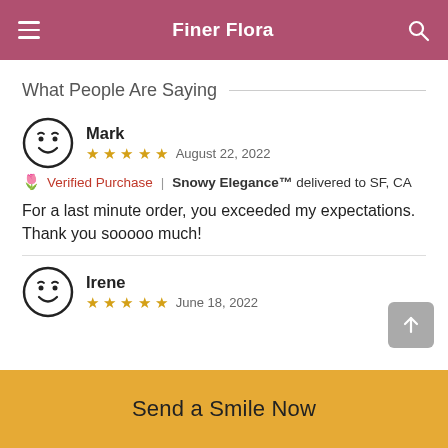Finer Flora
What People Are Saying
Mark
★★★★★  August 22, 2022
🌷 Verified Purchase | Snowy Elegance™ delivered to SF, CA
For a last minute order, you exceeded my expectations. Thank you sooooo much!
Irene
★★★★★  June 18, 2022
Send a Smile Now